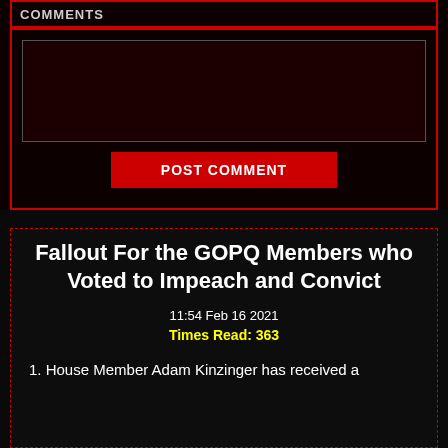COMMENTS
[Figure (screenshot): Dark-themed comment text area input field with dark red background and gray border]
POST COMMENT
Fallout For the GOPQ Members who Voted to Impeach and Convict
11:54 Feb 16 2021
Times Read: 363
1. House Member Adam Kinzinger has received a